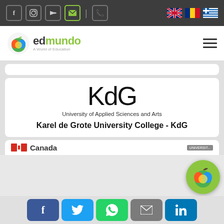Edmundo - A World of Education navigation bar with social icons and language flags
[Figure (logo): Edmundo logo with apple icon and text 'edmundo A World of Education']
[Figure (logo): KdG University of Applied Sciences and Arts logo]
Karel de Grote University College - KdG
Canada (partial card)
[Figure (logo): Edmundo floating round logo]
Social share buttons: Facebook, Twitter, WhatsApp, Email, LinkedIn